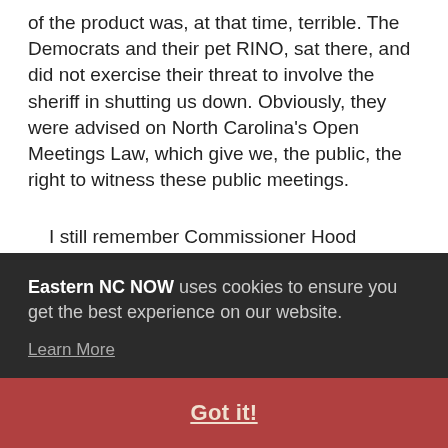of the product was, at that time, terrible. The Democrats and their pet RINO, sat there, and did not exercise their threat to involve the sheriff in shutting us down. Obviously, they were advised on North Carolina's Open Meetings Law, which give we, the public, the right to witness these public meetings.
I still remember Commissioner Hood Richardson's prophetic statement of the dramatic about-face by the Liberals on stopping us from bringing Beaufort County's government, unfiltered, to Beaufort County's people. "In [...]ington, [...]ddy
[...]eaufort [...]fect irony of possibly the first instance, in modern history
Eastern NC NOW uses cookies to ensure you get the best experience on our website. Learn More
Got it!